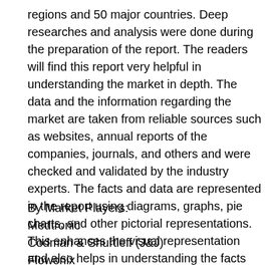regions and 50 major countries. Deep researches and analysis were done during the preparation of the report. The readers will find this report very helpful in understanding the market in depth. The data and the information regarding the market are taken from reliable sources such as websites, annual reports of the companies, journals, and others and were checked and validated by the industry experts. The facts and data are represented in the report using diagrams, graphs, pie charts, and other pictorial representations. This enhances the visual representation and also helps in understanding the facts much better.
By Market Players:
Medtronic
Codman & Shurtleff (J&J)
Flowonix
Tricumed